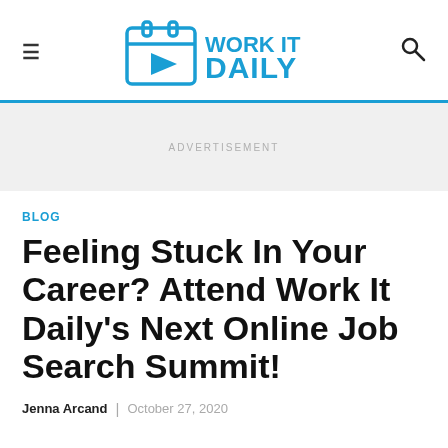Work It Daily — Navigation header with hamburger menu, logo, and search icon
[Figure (logo): Work It Daily logo: calendar icon with play button and blue text 'WORK IT DAILY']
ADVERTISEMENT
BLOG
Feeling Stuck In Your Career? Attend Work It Daily's Next Online Job Search Summit!
Jenna Arcand | October 27, 2020